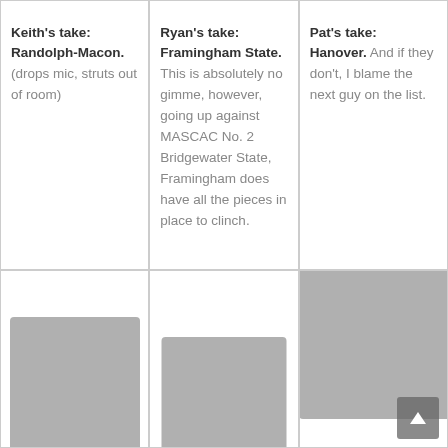Keith's take: Randolph-Macon. (drops mic, struts out of room)
Ryan's take: Framingham State. This is absolutely no gimme, however, going up against MASCAC No. 2 Bridgewater State, Framingham does have all the pieces in place to clinch.
Pat's take: Hanover. And if they don't, I blame the next guy on the list.
[Figure (photo): Photo of Keith (partially visible, bottom of cell)]
[Figure (photo): Photo of Ryan (partially visible, bottom of cell)]
[Figure (photo): Photo of Pat (partially visible, top-right of cell) with scroll-to-top button overlay]